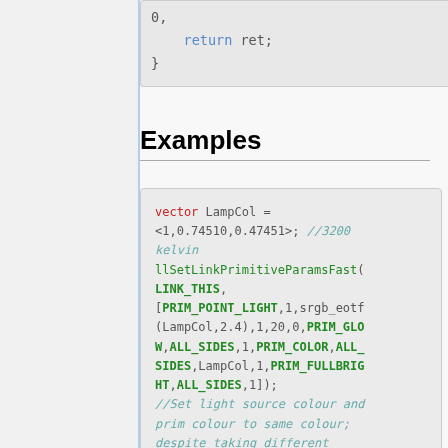0,
    return ret;
}
Examples
vector LampCol = <1,0.74510,0.47451>; //3200 kelvin
llSetLinkPrimitiveParamsFast(LINK_THIS,[PRIM_POINT_LIGHT,1,srgb_eotf(LampCol,2.4),1,20,0,PRIM_GLOW,ALL_SIDES,1,PRIM_COLOR,ALL_SIDES,LampCol,1,PRIM_FULLBRIGHT,ALL_SIDES,1]);
//Set light source colour and prim colour to same colour; despite taking different input values.